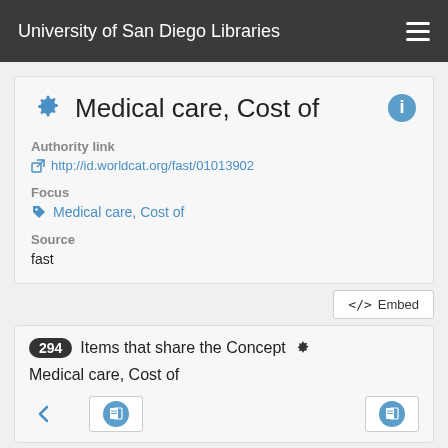University of San Diego Libraries
Medical care, Cost of
Authority link
http://id.worldcat.org/fast/01013902
Focus
Medical care, Cost of
Source
fast
</> Embed
294 Items that share the Concept ⚙ Medical care, Cost of